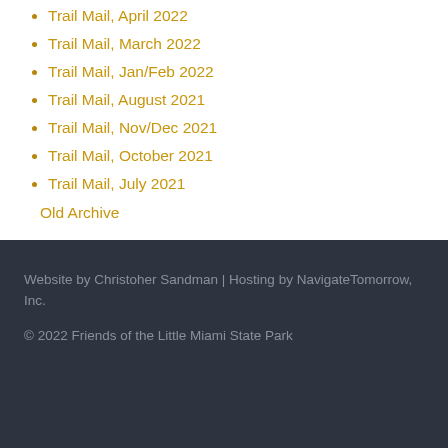Trail Mail, April 2022
Trail Mail, March 2022
Trail Mail, Jan/Feb 2022
Trail Mail, August 2021
Trail Mail, Nov/Dec 2021
Trail Mail, October 2021
Trail Mail, July 2021
Old Archive
Website by Christoher Sandman | Hosting by NavigateTomorrow, Inc.
© 2022 Friends of the Little Miami State Park